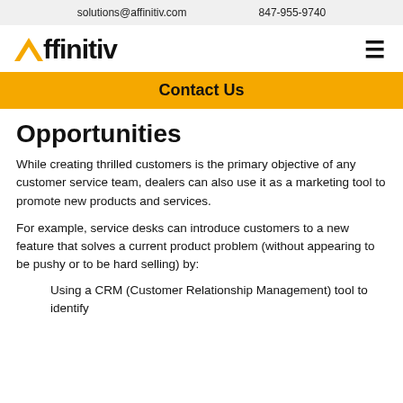solutions@affinitiv.com   847-955-9740
[Figure (logo): Affinitiv logo with yellow triangle accent]
Contact Us
Opportunities
While creating thrilled customers is the primary objective of any customer service team, dealers can also use it as a marketing tool to promote new products and services.
For example, service desks can introduce customers to a new feature that solves a current product problem (without appearing to be pushy or to be hard selling) by:
Using a CRM (Customer Relationship Management) tool to identify